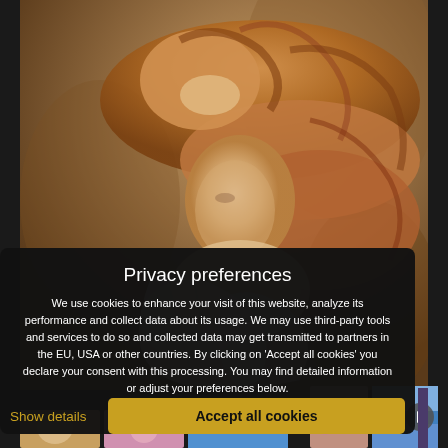[Figure (illustration): Classical oil painting depicting a woman with long curly auburn hair, head resting on her hand, draped in white fabric, painted in warm golden-brown tones]
Privacy preferences
We use cookies to enhance your visit of this website, analyze its performance and collect data about its usage. We may use third-party tools and services to do so and collected data may get transmitted to partners in the EU, USA or other countries. By clicking on 'Accept all cookies' you declare your consent with this processing. You may find detailed information or adjust your preferences below.
Privacy declaration
Show details
Accept all cookies
[Figure (photo): Small thumbnail images at the bottom of the page showing artwork previews, with a navigation arrow button]